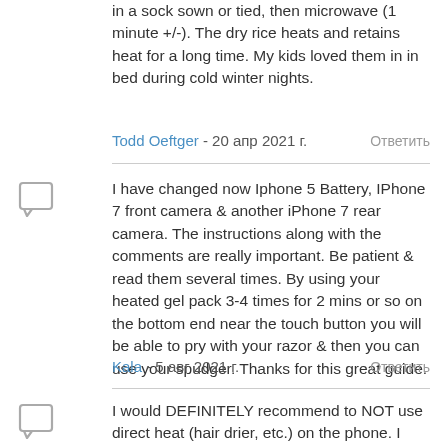in a sock sown or tied, then microwave (1 minute +/-). The dry rice heats and retains heat for a long time. My kids loved them in in bed during cold winter nights.
Todd Oeftger - 20 апр 2021 г.   Ответить
I have changed now Iphone 5 Battery, IPhone 7 front camera & another iPhone 7 rear camera. The instructions along with the comments are really important. Be patient & read them several times. By using your heated gel pack 3-4 times for 2 mins or so on the bottom end near the touch button you will be able to pry with your razor & then you can use your spudger. Thanks for this great guide.
Kala - 5 авг 2021 г.   Ответить
I would DEFINITELY recommend to NOT use direct heat (hair drier, etc.) on the phone. I used a hair drier to help heat the phone and ended up damaging the home button (would not work after the replacement and I didn't to do a replacement...